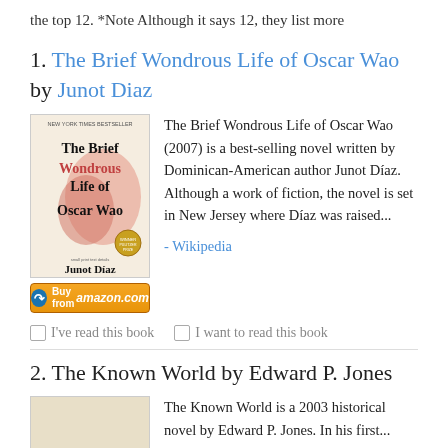the top 12. *Note Although it says 12, they list more
1. The Brief Wondrous Life of Oscar Wao by Junot Diaz
[Figure (illustration): Book cover of The Brief Wondrous Life of Oscar Wao by Junot Díaz]
The Brief Wondrous Life of Oscar Wao (2007) is a best-selling novel written by Dominican-American author Junot Díaz. Although a work of fiction, the novel is set in New Jersey where Díaz was raised...
- Wikipedia
☐ I've read this book   ☐ I want to read this book
2. The Known World by Edward P. Jones
[Figure (illustration): Book cover of The Known World by Edward P. Jones]
The Known World is a 2003 historical novel by Edward P. Jones. In his first...